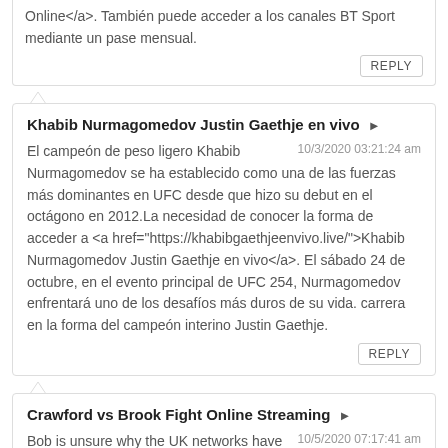Online</a>. También puede acceder a los canales BT Sport mediante un pase mensual.
REPLY
Khabib Nurmagomedov Justin Gaethje en vivo ➤
10/3/2020 03:21:24 am
El campeón de peso ligero Khabib Nurmagomedov se ha establecido como una de las fuerzas más dominantes en UFC desde que hizo su debut en el octágono en 2012.La necesidad de conocer la forma de acceder a <a href="https://khabibgaethjeenvivo.live/">Khabib Nurmagomedov Justin Gaethje en vivo</a>. El sábado 24 de octubre, en el evento principal de UFC 254, Nurmagomedov enfrentará uno de los desafíos más duros de su vida. carrera en la forma del campeón interino Justin Gaethje.
REPLY
Crawford vs Brook Fight Online Streaming ➤
10/5/2020 07:17:41 am
Bob is unsure why the UK networks have turned up their noses at the idea of putting on the Crawford-Brook fight, as he feels it's a great match-up. One theory is